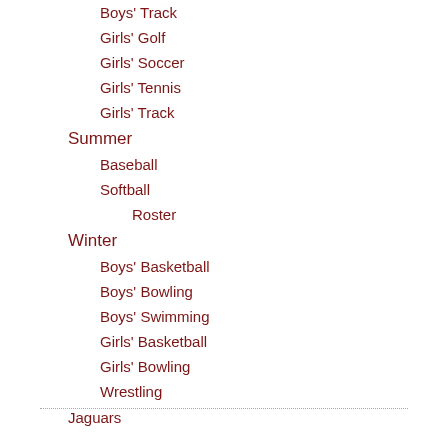Boys' Track
Girls' Golf
Girls' Soccer
Girls' Tennis
Girls' Track
Summer
Baseball
Softball
Roster
Winter
Boys' Basketball
Boys' Bowling
Boys' Swimming
Girls' Basketball
Girls' Bowling
Wrestling
Jaguars